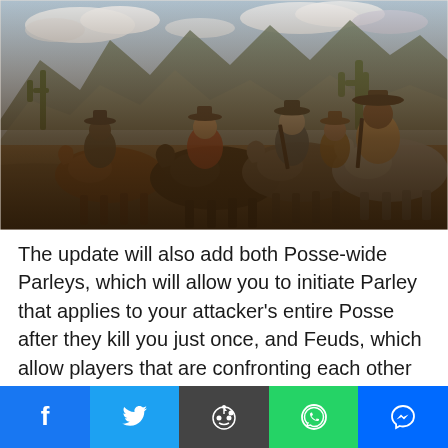[Figure (photo): A group of cowboys on horseback in a desert landscape with cacti and mountains in the background, resembling a scene from Red Dead Redemption video game]
The update will also add both Posse-wide Parleys, which will allow you to initiate Parley that applies to your attacker's entire Posse after they kill you just once, and Feuds, which allow players that are confronting each other to initiate either a Posse Feud or Leader Feud after one kill, which turns disputes into a